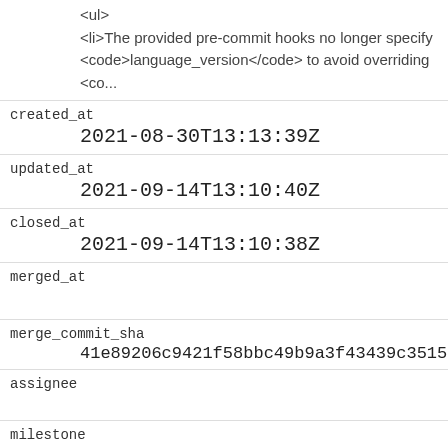<ul>
<li>The provided pre-commit hooks no longer specify <code>language_version</code> to avoid overriding <co...
| field | value |
| --- | --- |
| created_at | 2021-08-30T13:13:39Z |
| updated_at | 2021-09-14T13:10:40Z |
| closed_at | 2021-09-14T13:10:38Z |
| merged_at |  |
| merge_commit_sha | 41e89206c9421f58bbc49b9a3f43439c351595a9 |
| assignee |  |
| milestone |  |
| draft | 0 |